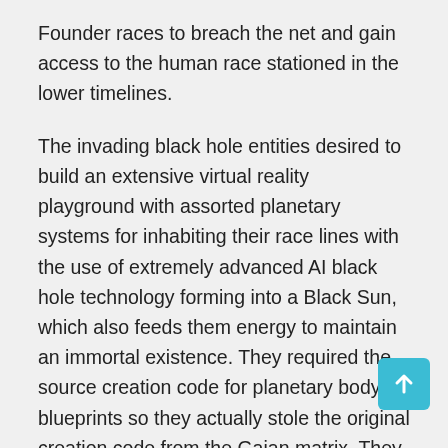Founder races to breach the net and gain access to the human race stationed in the lower timelines.
The invading black hole entities desired to build an extensive virtual reality playground with assorted planetary systems for inhabiting their race lines with the use of extremely advanced AI black hole technology forming into a Black Sun, which also feeds them energy to maintain an immortal existence. They required the source creation code for planetary body blueprints so they actually stole the original creation code from the Gaian matrix. They also needed access to continue to harvest living energy matrices in order to replicate Black Sun shadow body planetary systems within their phantom systems in Wesa. To handle the energetic